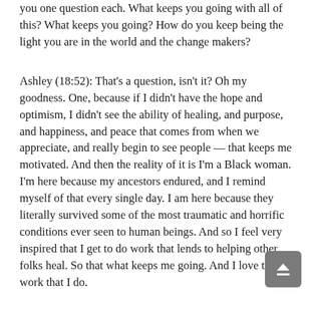you one question each. What keeps you going with all of this? What keeps you going? How do you keep being the light you are in the world and the change makers?
Ashley (18:52): That's a question, isn't it? Oh my goodness. One, because if I didn't have the hope and optimism, I didn't see the ability of healing, and purpose, and happiness, and peace that comes from when we appreciate, and really begin to see people — that keeps me motivated. And then the reality of it is I'm a Black woman. I'm here because my ancestors endured, and I remind myself of that every single day. I am here because they literally survived some of the most traumatic and horrific conditions ever seen to human beings. And so I feel very inspired that I get to do work that lends to helping other folks heal. So that what keeps me going. And I love the work that I do.
Daryl (19:35): Yeah. I feel like we're very fortunate,